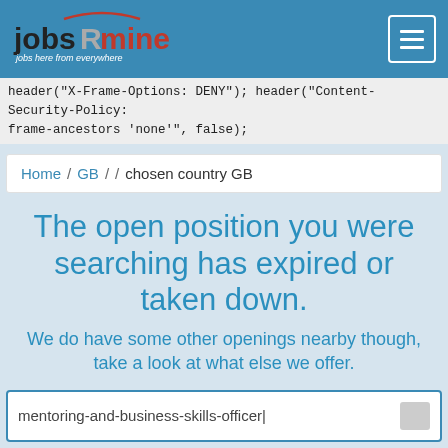jobsRmine — jobs here from everywhere — navigation header
header("X-Frame-Options: DENY"); header("Content-Security-Policy: frame-ancestors 'none'", false);
Home / GB / chosen country GB
The open position you were searching has expired or taken down.
We do have some other openings nearby though, take a look at what else we offer.
mentoring-and-business-skills-officer